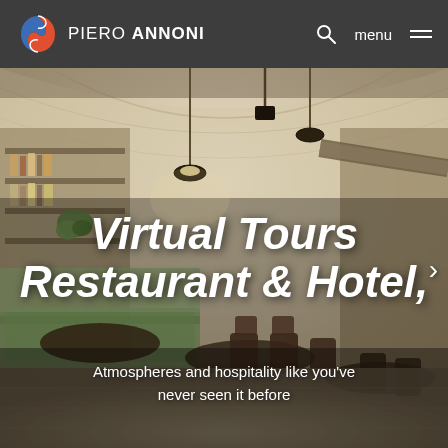PIERO ANNONI — menu
[Figure (photo): Interior of a modern restaurant with arched ceiling, pendant lights, bookshelf bar, green booth seating, dark wooden chairs and tables on light marble flooring, fisheye/panoramic perspective]
Virtual Tours Restaurant & Hotel,
Atmospheres and hospitality like you've never seen it before